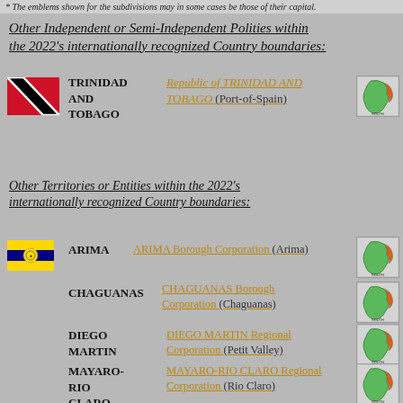* The emblems shown for the subdivisions may in some cases be those of their capital.
Other Independent or Semi-Independent Polities within the 2022's internationally recognized Country boundaries:
TRINIDAD AND TOBAGO — Republic of TRINIDAD AND TOBAGO (Port-of-Spain)
Other Territories or Entities within the 2022's internationally recognized Country boundaries:
ARIMA — ARIMA Borough Corporation (Arima)
CHAGUANAS — CHAGUANAS Borough Corporation (Chaguanas)
DIEGO MARTIN — DIEGO MARTIN Regional Corporation (Petit Valley)
MAYARO-RIO CLARO — MAYARO-RIO CLARO Regional Corporation (Rio Claro)